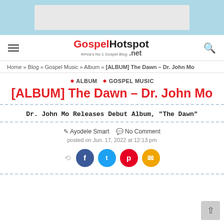[Figure (other): Light blue ad banner area with a grey rectangle placeholder advertisement]
GospelHotspot.net — Africa's No.1 Gospel Blog — navigation bar with hamburger menu and search icon
Home » Blog » Gospel Music » Album » [ALBUM] The Dawn – Dr. John Mo
● ALBUM  ● GOSPEL MUSIC
[ALBUM] The Dawn – Dr. John Mo
Dr. John Mo Releases Debut Album, "The Dawn"
Ayodele Smart   No Comment
posted on Jun. 17, 2022 at 12:13 pm
[Figure (other): Social share buttons: Facebook (blue), Twitter (cyan), Pinterest (red), Email (orange)]